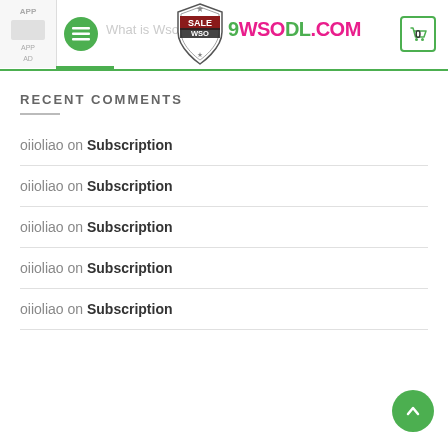9WSODL.COM - navigation header with menu, logo, and cart
RECENT COMMENTS
oiioliao on Subscription
oiioliao on Subscription
oiioliao on Subscription
oiioliao on Subscription
oiioliao on Subscription